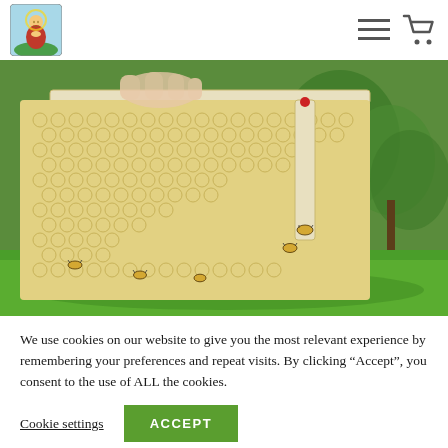[Logo: Buddha figure] [Hamburger menu icon] [Shopping cart icon]
[Figure (photo): A close-up photo of a beekeeper holding up a wooden honeycomb frame covered with honeycomb cells and several bees, outdoors with green trees and grass in the background.]
We use cookies on our website to give you the most relevant experience by remembering your preferences and repeat visits. By clicking “Accept”, you consent to the use of ALL the cookies.
Cookie settings   ACCEPT